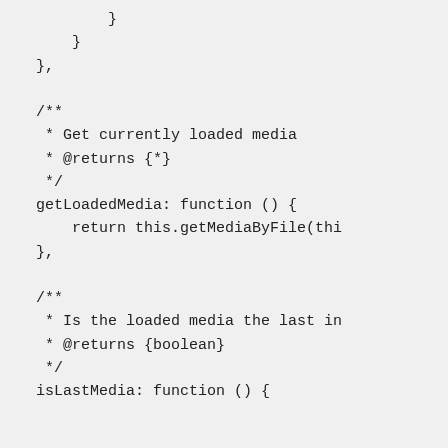}
        }
    },

    /**
     * Get currently loaded media
     * @returns {*}
     */
    getLoadedMedia: function () {
        return this.getMediaByFile(thi
    },

    /**
     * Is the loaded media the last in
     * @returns {boolean}
     */
    isLastMedia: function () {